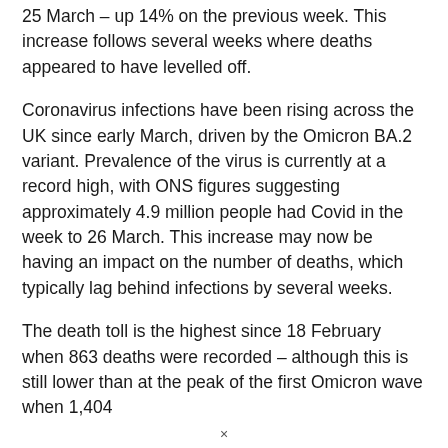25 March – up 14% on the previous week. This increase follows several weeks where deaths appeared to have levelled off.
Coronavirus infections have been rising across the UK since early March, driven by the Omicron BA.2 variant. Prevalence of the virus is currently at a record high, with ONS figures suggesting approximately 4.9 million people had Covid in the week to 26 March. This increase may now be having an impact on the number of deaths, which typically lag behind infections by several weeks.
The death toll is the highest since 18 February when 863 deaths were recorded – although this is still lower than at the peak of the first Omicron wave when 1,404